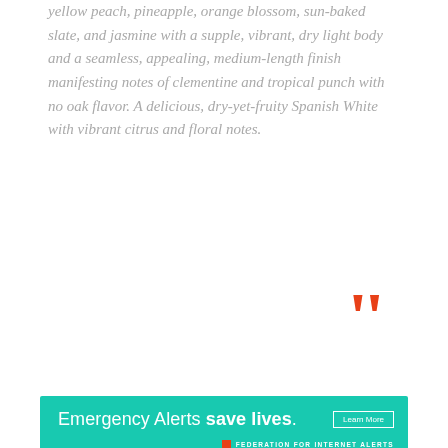yellow peach, pineapple, orange blossom, sun-baked slate, and jasmine with a supple, vibrant, dry light body and a seamless, appealing, medium-length finish manifesting notes of clementine and tropical punch with no oak flavor. A delicious, dry-yet-fruity Spanish White with vibrant citrus and floral notes.
[Figure (illustration): Large orange/red decorative closing quotation mark]
[Figure (infographic): Teal/turquoise advertisement banner reading 'Emergency Alerts save lives.' with a 'Learn More' button and 'FEDERATION FOR INTERNET ALERTS' branding with orange square logo]
Tasting Info
| Style: | Crisp & Lively, Fruity, Juicy & Smooth & No... |